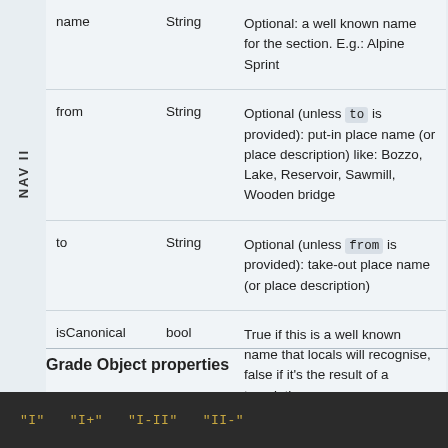NAV II
| name | type | description |
| --- | --- | --- |
| name | String | Optional: a well known name for the section. E.g.: Alpine Sprint |
| from | String | Optional (unless `to` is provided): put-in place name (or place description) like: Bozzo, Lake, Reservoir, Sawmill, Wooden bridge |
| to | String | Optional (unless `from` is provided): take-out place name (or place description) |
| isCanonical | bool | True if this is a well known name that locals will recognise, false if it's the result of a translation |
Grade Object properties
"I"  "I+"  "I-II"  "II-"